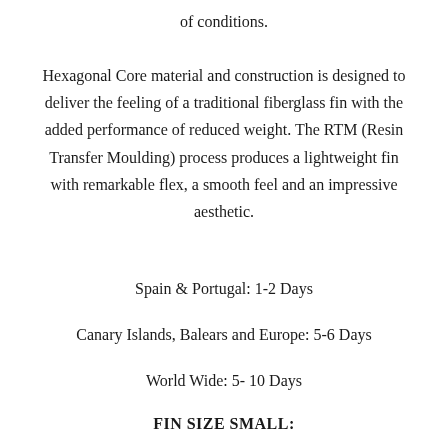of conditions.
Hexagonal Core material and construction is designed to deliver the feeling of a traditional fiberglass fin with the added performance of reduced weight. The RTM (Resin Transfer Moulding) process produces a lightweight fin with remarkable flex, a smooth feel and an impressive aesthetic.
Spain & Portugal: 1-2 Days
Canary Islands, Balears and Europe: 5-6 Days
World Wide: 5- 10 Days
FIN SIZE SMALL: